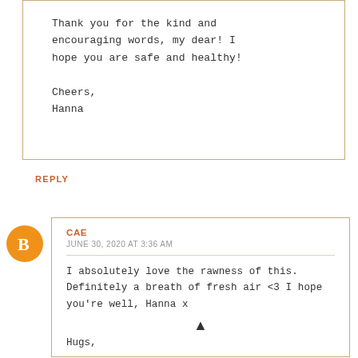Thank you for the kind and encouraging words, my dear! I hope you are safe and healthy!

Cheers,
Hanna
REPLY
CAE
JUNE 30, 2020 AT 3:36 AM
I absolutely love the rawness of this. Definitely a breath of fresh air <3 I hope you're well, Hanna x

Hugs,